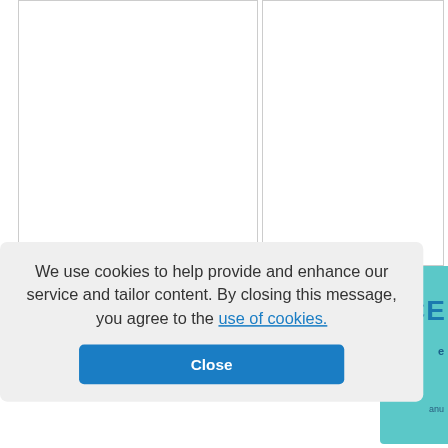[Figure (screenshot): Two-column document layout visible at top of page, with white background and light gray borders on left and right columns]
We use cookies to help provide and enhance our service and tailor content. By closing this message, you agree to the use of cookies.
Close